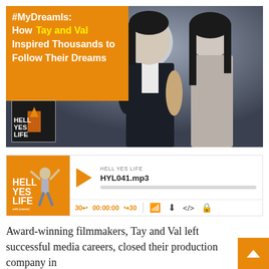[Figure (photo): Hero banner image showing two Asian women posed back-to-back against a dark background, with an orange overlay text block on the left reading '#MyDreamIs: How Tay and Val Inspired Thousands to Follow Their Dreams', and a small 'Hell Yes Life' podcast logo in the lower left of the image.]
[Figure (screenshot): Audio player widget for 'Hell Yes Life' podcast. Shows the orange Hell Yes Life logo on the left, a play button triangle, track labeled 'HELL YES LIFE' with filename 'HYL041.mp3', a progress bar, and bottom controls showing '30← 00:00:00 →30' and icons for RSS, download, embed, and share.]
Award-winning filmmakers, Tay and Val left successful media careers, closed their production company in